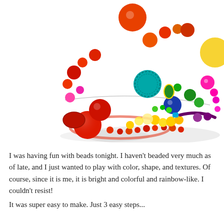[Figure (photo): Colorful beaded bracelets stacked together on a white background, featuring red, orange, yellow, green, blue, teal, purple, and pink beads of various shapes and sizes.]
I was having fun with beads tonight. I haven't beaded very much as of late, and I just wanted to play with color, shape, and textures. Of course, since it is me, it is bright and colorful and rainbow-like. I couldn't resist!
It was super easy to make. Just 3 easy steps...